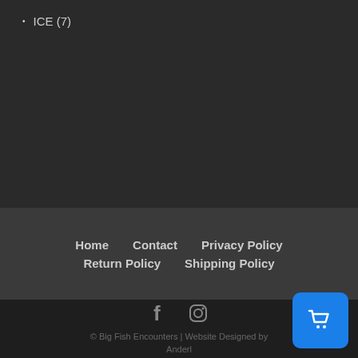ICE (7)
Home  Contact  Privacy Policy  Return Policy  Shipping Policy
[Figure (illustration): Facebook and Instagram social media icons in grey]
© Big Fish Encounters | Website Designed by Anderl
[Figure (illustration): Blue shopping cart button in bottom-right corner]